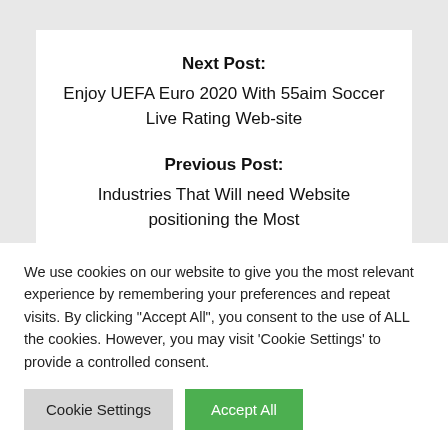Next Post:
Enjoy UEFA Euro 2020 With 55aim Soccer Live Rating Web-site
Previous Post:
Industries That Will need Website positioning the Most
We use cookies on our website to give you the most relevant experience by remembering your preferences and repeat visits. By clicking "Accept All", you consent to the use of ALL the cookies. However, you may visit 'Cookie Settings' to provide a controlled consent.